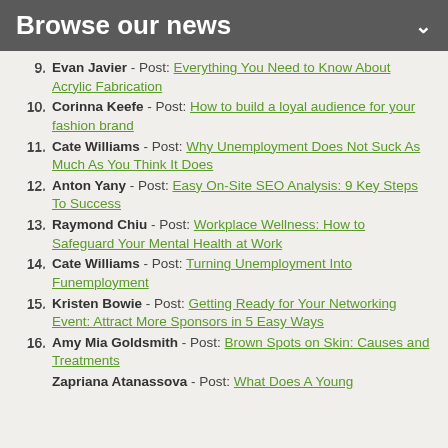Browse our news
9. Evan Javier - Post: Everything You Need to Know About Acrylic Fabrication
10. Corinna Keefe - Post: How to build a loyal audience for your fashion brand
11. Cate Williams - Post: Why Unemployment Does Not Suck As Much As You Think It Does
12. Anton Yany - Post: Easy On-Site SEO Analysis: 9 Key Steps To Success
13. Raymond Chiu - Post: Workplace Wellness: How to Safeguard Your Mental Health at Work
14. Cate Williams - Post: Turning Unemployment Into Funemployment
15. Kristen Bowie - Post: Getting Ready for Your Networking Event: Attract More Sponsors in 5 Easy Ways
16. Amy Mia Goldsmith - Post: Brown Spots on Skin: Causes and Treatments
17. Zapriana Atanassova - Post: What Does A Young...